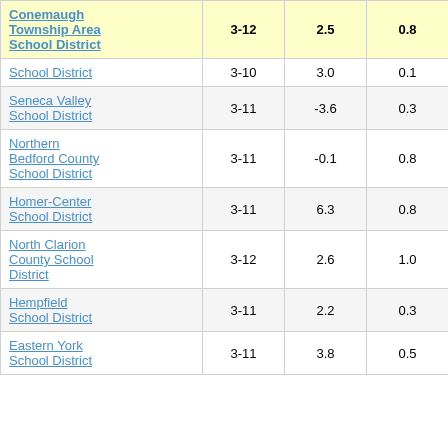| District | Grades | Col3 | Col4 | Score |
| --- | --- | --- | --- | --- |
| Conemaugh Township Area School District | 3-12 | 2.5 | 0.8 | 3.18 |
| School District | 3-10 | 3.0 | 0.1 | -7.10 |
| Seneca Valley School District | 3-11 | -3.6 | 0.3 | -12.57 |
| Northern Bedford County School District | 3-11 | -0.1 | 0.8 | -0.10 |
| Homer-Center School District | 3-11 | 6.3 | 0.8 | 7.72 |
| North Clarion County School District | 3-12 | 2.6 | 1.0 | 2.73 |
| Hempfield School District | 3-11 | 2.2 | 0.3 | 6.93 |
| Eastern York School District | 3-11 | 3.8 | 0.5 | 7.92 |